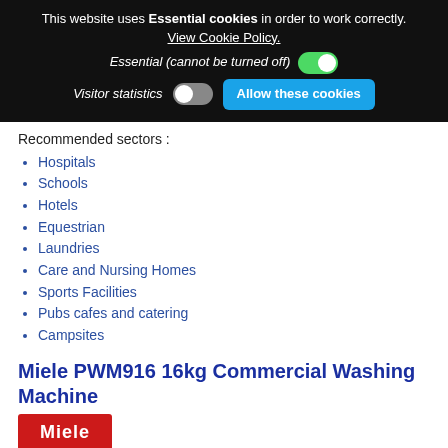This website uses Essential cookies in order to work correctly. View Cookie Policy. Essential (cannot be turned off) Visitor statistics Allow these cookies
Recommended sectors :
Hospitals
Schools
Hotels
Equestrian
Laundries
Care and Nursing Homes
Sports Facilities
Pubs cafes and catering
Campsites
Miele PWM916 16kg Commercial Washing Machine
[Figure (logo): Miele brand logo — white text on red background]
Professional washing machine, electrically heated, with drain valve and detergent drawer, M Touch Pro Plus freely programmable,